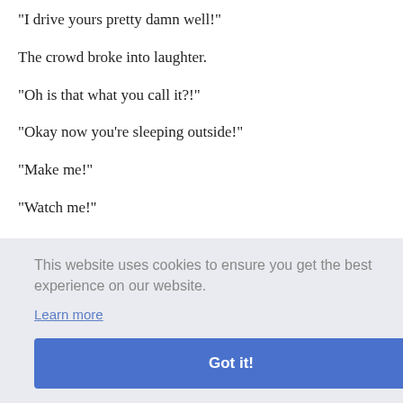"I drive yours pretty damn well!"
The crowd broke into laughter.
"Oh is that what you call it?!"
"Okay now you're sleeping outside!"
"Make me!"
"Watch me!"
This website uses cookies to ensure you get the best experience on our website.
Learn more
Got it!
ffort
would
"M..."